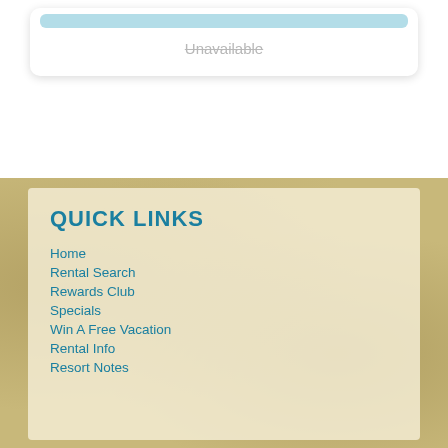[Figure (other): A card UI element with a light blue header bar and 'Unavailable' text with strikethrough styling]
QUICK LINKS
Home
Rental Search
Rewards Club
Specials
Win A Free Vacation
Rental Info
Resort Notes